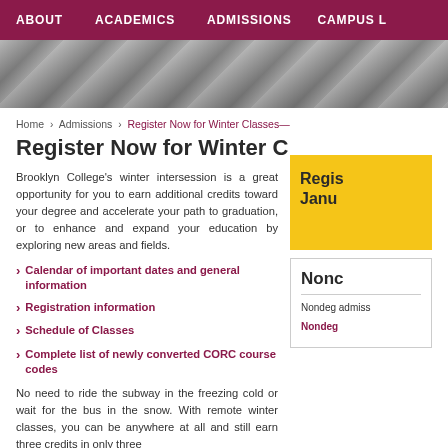ABOUT   ACADEMICS   ADMISSIONS   CAMPUS L
[Figure (photo): Hero image of students, partially visible]
Home › Admissions › Register Now for Winter Classes—Most Are Online!
Register Now for Winter Classes—Most A
Brooklyn College's winter intersession is a great opportunity for you to earn additional credits toward your degree and accelerate your path to graduation, or to enhance and expand your education by exploring new areas and fields.
Calendar of important dates and general information
Registration information
Schedule of Classes
Complete list of newly converted CORC course codes
No need to ride the subway in the freezing cold or wait for the bus in the snow. With remote winter classes, you can be anywhere at all and still earn three credits in only three
Regis Janu
Nonc
Nondeg admiss
Nondeg